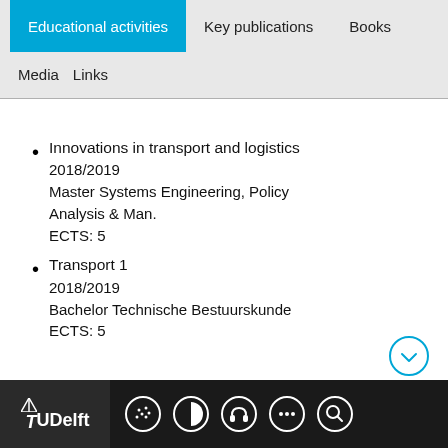Educational activities | Key publications | Books | Media | Links
Innovations in transport and logistics
2018/2019
Master Systems Engineering, Policy Analysis & Man.
ECTS: 5
Transport 1
2018/2019
Bachelor Technische Bestuurskunde
ECTS: 5
TU Delft